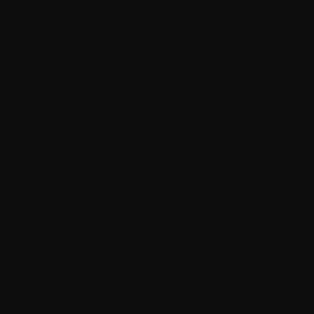rough leather arm
Scrying Orb
Transmogrification
Rod of Recall (1/
Achievements
Log
There
is
a
Derth
(Town)
here
(press
"
or